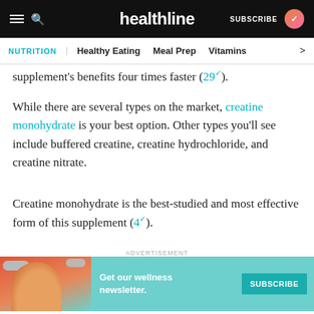healthline — NUTRITION | Healthy Eating | Meal Prep | Vitamins
supplement's benefits four times faster (29).
While there are several types on the market, creatine monohydrate is your best option. Other types you'll see include buffered creatine, creatine hydrochloride, and creatine nitrate.
Creatine monohydrate is the best-studied and most effective form of this supplement (4).
SUMMARY
[Figure (screenshot): Advertisement banner with wellness newsletter subscribe button]